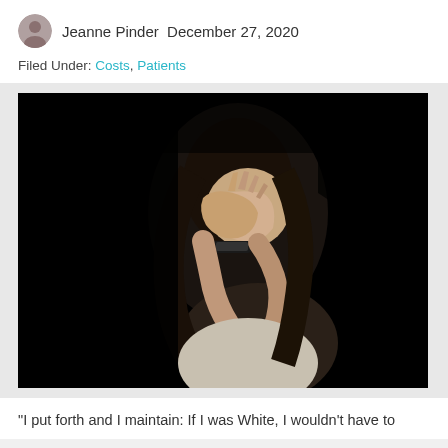Jeanne Pinder  December 27, 2020
Filed Under: Costs, Patients
[Figure (photo): Black and white photograph of a woman with dark hair covering her face with her hands, wearing a watch and a light-colored sweater, against a dark background, conveying distress or grief.]
"I put forth and I maintain: If I was White, I wouldn't have to